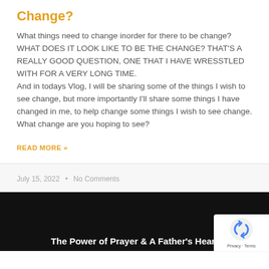Change?
What things need to change inorder for there to be change? WHAT DOES IT LOOK LIKE TO BE THE CHANGE? THAT'S A REALLY GOOD QUESTION, ONE THAT I HAVE WRESSTLED WITH FOR A VERY LONG TIME.
And in todays Vlog, I will be sharing some of the things I wish to see change, but more importantly I'll share some things I have changed in me, to help change some things I wish to see change.
What change are you hoping to see?
READ MORE »
July 15, 2022  •  No Comments
The Power of Prayer & A Father's Heart